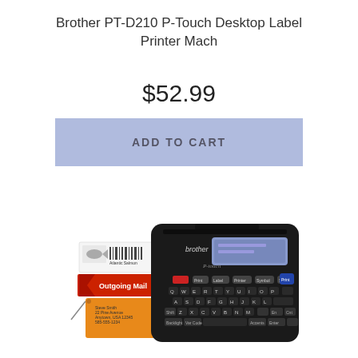Brother PT-D210 P-Touch Desktop Label Printer Mach
$52.99
ADD TO CART
[Figure (photo): Brother PT-D210 P-Touch Desktop Label Printer in black with QWERTY keyboard, LCD screen, and sample printed labels including a fish label, red Outgoing Mail label, and orange address tag]